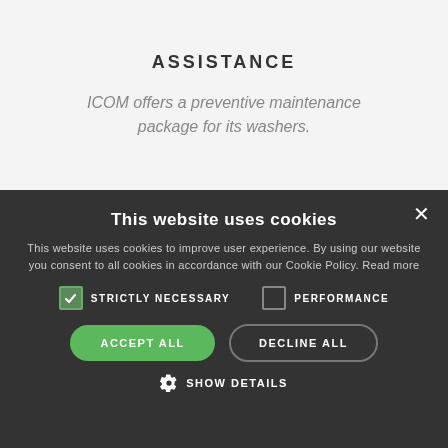ASSISTANCE
ICOM offers a preventive maintenance package for its washers.
This website uses cookies
This website uses cookies to improve user experience. By using our website you consent to all cookies in accordance with our Cookie Policy. Read more
STRICTLY NECESSARY   PERFORMANCE
ACCEPT ALL   DECLINE ALL
SHOW DETAILS